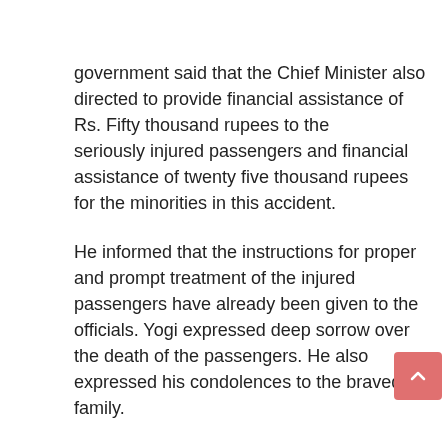government said that the Chief Minister also directed to provide financial assistance of Rs. Fifty thousand rupees to the seriously injured passengers and financial assistance of twenty five thousand rupees for the minorities in this accident.
He informed that the instructions for proper and prompt treatment of the injured passengers have already been given to the officials. Yogi expressed deep sorrow over the death of the passengers. He also expressed his condolences to the braved family.
Uttar Pradesh additional director general of police (law and order) Anand Kumar told that the first sight seems to be a rift in the tracks. , indian goverment Announced an help of Rs 50 lakh each to the seriously injured persons, one lakh